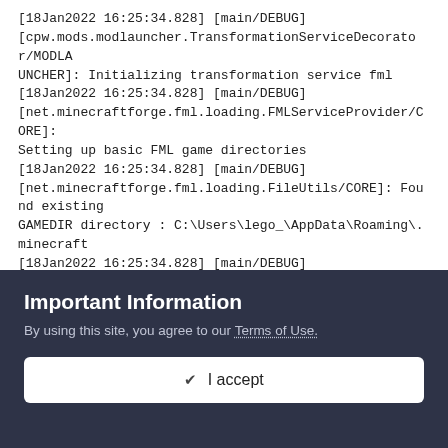[18Jan2022 16:25:34.828] [main/DEBUG] [cpw.mods.modlauncher.TransformationServiceDecorator/MODLAUNCHER]: Initializing transformation service fml
[18Jan2022 16:25:34.828] [main/DEBUG] [net.minecraftforge.fml.loading.FMLServiceProvider/CORE]: Setting up basic FML game directories
[18Jan2022 16:25:34.828] [main/DEBUG] [net.minecraftforge.fml.loading.FileUtils/CORE]: Found existing GAMEDIR directory : C:\Users\lego_\AppData\Roaming\.minecraft
[18Jan2022 16:25:34.828] [main/DEBUG] [net.minecraftforge.fml.loading.FMLPaths/CORE]: Path GAMEDIR is C:\Users\lego_\AppData\Roaming\.minecraft
[18Jan2022 16:25:34.828] [main/DEBUG] [net.minecraftforge.fml.loading.FileUtils/CORE]: Found existing MODSDIR directory :
C:\Users\lego_\AppData\Roaming\.minecraft\mods
Important Information
By using this site, you agree to our Terms of Use.
✔ I accept